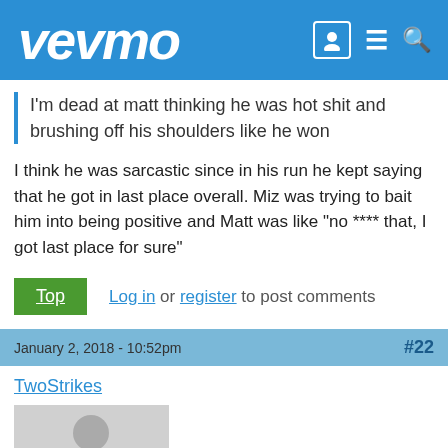vevmo
I'm dead at matt thinking he was hot shit and brushing off his shoulders like he won
I think he was sarcastic since in his run he kept saying that he got in last place overall. Miz was trying to bait him into being positive and Matt was like "no **** that, I got last place for sure"
Top  Log in or register to post comments
January 2, 2018 - 10:52pm  #22
TwoStrikes
[Figure (photo): Default user avatar placeholder — grey silhouette of a person on light grey background]